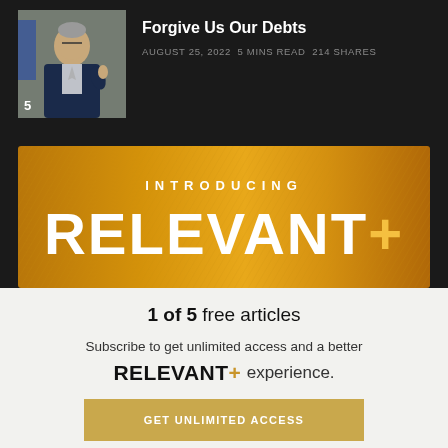[Figure (photo): Thumbnail photo of a man in a suit speaking, with the number 5 overlaid at the bottom left]
Forgive Us Our Debts
AUGUST 25, 2022  5 MINS READ  214 SHARES
[Figure (infographic): Golden gradient banner with text INTRODUCING RELEVANT+]
1 of 5 free articles
Subscribe to get unlimited access and a better RELEVANT+ experience.
GET UNLIMITED ACCESS